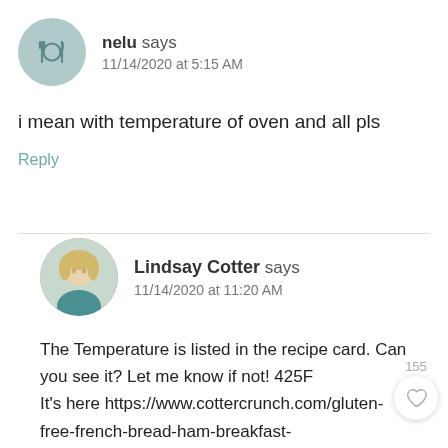nelu says
11/14/2020 at 5:15 AM
i mean with temperature of oven and all pls
Reply
Lindsay Cotter says
11/14/2020 at 11:20 AM
The Temperature is listed in the recipe card. Can you see it? Let me know if not! 425F
It's here https://www.cottercrunch.com/gluten-free-french-bread-ham-breakfast-strata/print/42866/
Reply